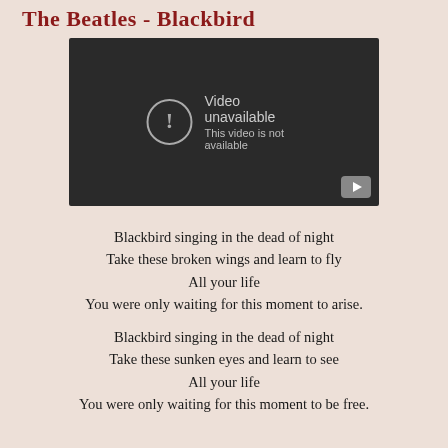The Beatles - Blackbird
[Figure (screenshot): Embedded video player showing 'Video unavailable – This video is not available' error message on a dark background, with a YouTube play button icon in the bottom right corner.]
Blackbird singing in the dead of night
Take these broken wings and learn to fly
All your life
You were only waiting for this moment to arise.
Blackbird singing in the dead of night
Take these sunken eyes and learn to see
All your life
You were only waiting for this moment to be free.